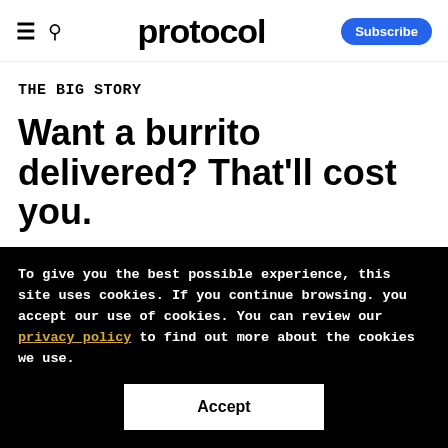≡  🔍  protocol  Subscribe
THE BIG STORY
Want a burrito delivered? That'll cost you.
Food delivery can seem magical: Press a button, and there's a pizza at your door. But
To give you the best possible experience, this site uses cookies. If you continue browsing. you accept our use of cookies. You can review our privacy policy to find out more about the cookies we use.
Accept